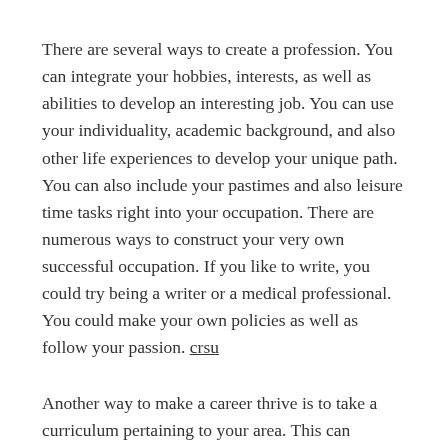There are several ways to create a profession. You can integrate your hobbies, interests, as well as abilities to develop an interesting job. You can use your individuality, academic background, and also other life experiences to develop your unique path. You can also include your pastimes and also leisure time tasks right into your occupation. There are numerous ways to construct your very own successful occupation. If you like to write, you could try being a writer or a medical professional. You could make your own policies as well as follow your passion. crsu
Another way to make a career thrive is to take a curriculum pertaining to your area. This can provide you a terrific sense of purpose and contentment. You can end up being a mathematics teacher, a healthcare assistant, or a law enforcement officer. If you are looking for a